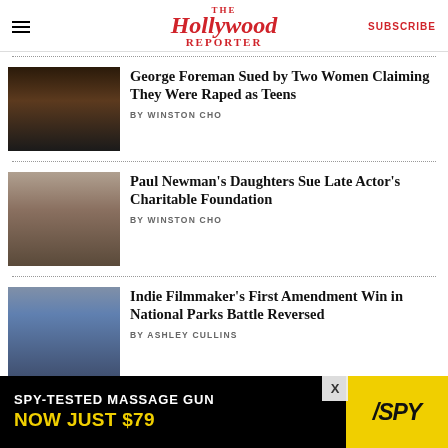The Hollywood Reporter | SUBSCRIBE
George Foreman Sued by Two Women Claiming They Were Raped as Teens
BY WINSTON CHO
Paul Newman's Daughters Sue Late Actor's Charitable Foundation
BY WINSTON CHO
Indie Filmmaker's First Amendment Win in National Parks Battle Reversed
BY ASHLEY CULLINS
[Figure (infographic): Advertisement banner: SPY-TESTED MASSAGE GUN NOW JUST $79 with SPY logo]